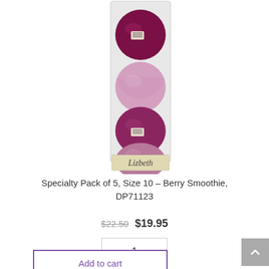[Figure (photo): Product photo of Lizbeth Specialty Pack of 5 thread balls in berry/purple shades stacked vertically in a clear plastic package with Lizbeth label at bottom]
Specialty Pack of 5, Size 10 – Berry Smoothie, DP71123
$22.50 $19.95
1
Add to cart